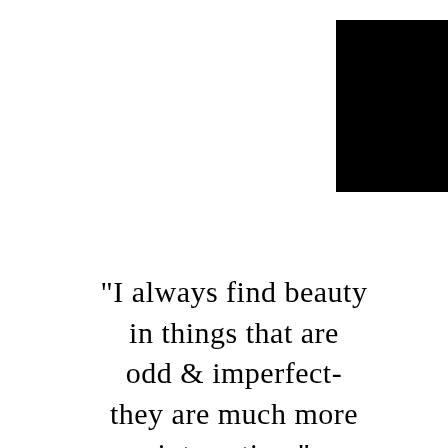[Figure (photo): Black rectangular image/photo block in the upper portion of the page]
"I always find beauty in things that are odd & imperfect- they are much more interesting."